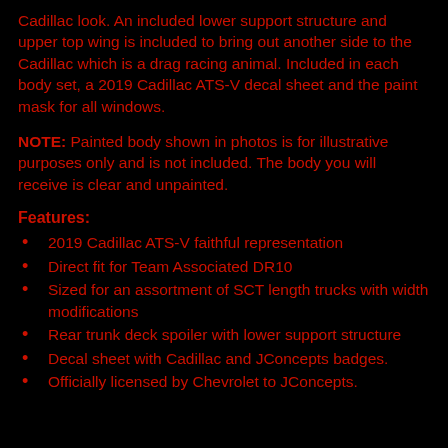Cadillac look. An included lower support structure and upper top wing is included to bring out another side to the Cadillac which is a drag racing animal. Included in each body set, a 2019 Cadillac ATS-V decal sheet and the paint mask for all windows.
NOTE: Painted body shown in photos is for illustrative purposes only and is not included. The body you will receive is clear and unpainted.
Features:
2019 Cadillac ATS-V faithful representation
Direct fit for Team Associated DR10
Sized for an assortment of SCT length trucks with width modifications
Rear trunk deck spoiler with lower support structure
Decal sheet with Cadillac and JConcepts badges.
Officially licensed by Chevrolet to JConcepts.